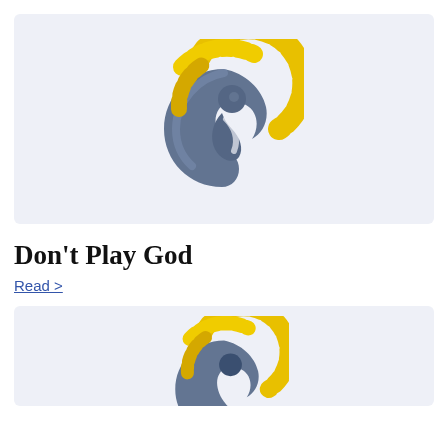[Figure (logo): Abstract logo showing a mother-and-child or embryo figure in blue/dark tones, surrounded by a gold/yellow checkered arc, on a light blue-grey background]
Don't Play God
Read >
[Figure (logo): Same abstract logo partially visible at the bottom — mother-and-child figure in blue tones with gold checkered arc, cropped at bottom of page]